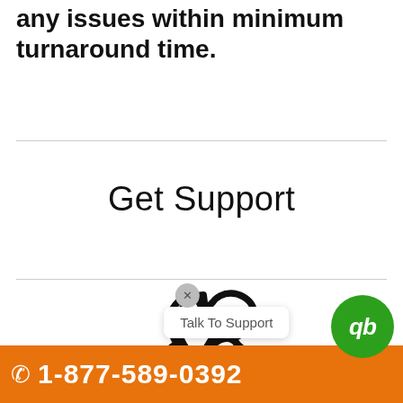any issues within minimum turnaround time.
Get Support
[Figure (illustration): Phone/telephone handset icon outline in black]
[Figure (illustration): QuickBooks green circular logo with 'qb' text]
Talk To Support
1-877-589-0392